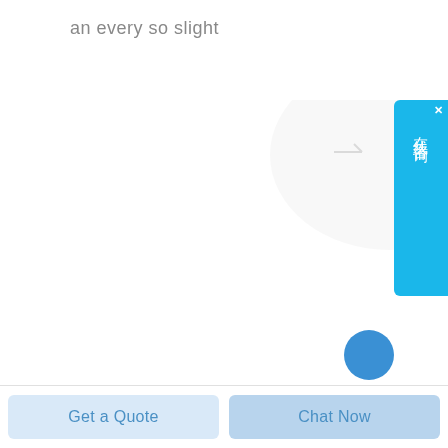an every so slight
[Figure (photo): A blue and silver ball screw / lead screw assembly with blue end cap on the left, a central blue adjustable nut/coupler, a helical metal screw shaft, and a blue square mounting plate on the right. The product is photographed against a white background. A faint watermark logo appears in the background.]
[Figure (other): Chinese online chat widget (在线咨询) — a vertical blue button on the right edge with a close X icon]
[Figure (other): Blue circular chat/help button partially visible at bottom right]
Get a Quote
Chat Now